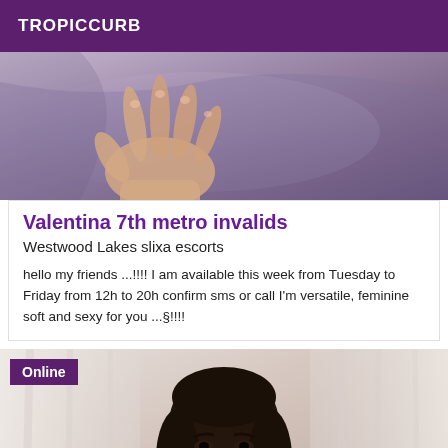TROPICCURB
[Figure (photo): Close-up photo of a hand resting on purple fabric/bedsheet]
Valentina 7th metro invalids
Westwood Lakes slixa escorts
hello my friends ...!!!! I am available this week from Tuesday to Friday from 12h to 20h confirm sms or call I'm versatile, feminine soft and sexy for you ...§!!!!
[Figure (photo): Photo of a dark-haired woman with red lips, wearing jewelry, with white curtains in background. Online badge overlay in top-left.]